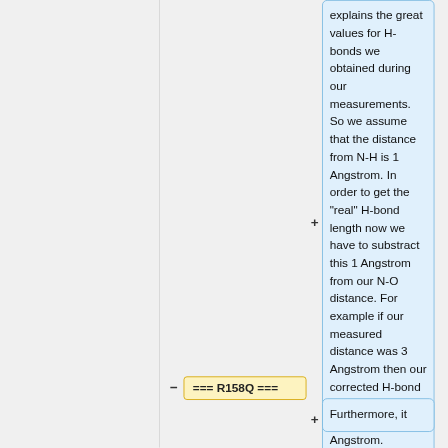explains the great values for H-bonds we obtained during our measurements. So we assume that the distance from N-H is 1 Angstrom. In order to get the "real" H-bond length now we have to substract this 1 Angstrom from our N-O distance. For example if our measured distance was 3 Angstrom then our corrected H-bond distance would be 3-1 = "2" Angstrom.
=== R158Q ===
Furthermore, it